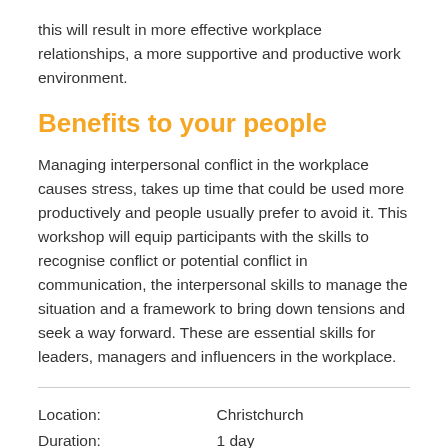this will result in more effective workplace relationships, a more supportive and productive work environment.
Benefits to your people
Managing interpersonal conflict in the workplace causes stress, takes up time that could be used more productively and people usually prefer to avoid it. This workshop will equip participants with the skills to recognise conflict or potential conflict in communication, the interpersonal skills to manage the situation and a framework to bring down tensions and seek a way forward. These are essential skills for leaders, managers and influencers in the workplace.
| Location: | Christchurch |
| Duration: | 1 day |